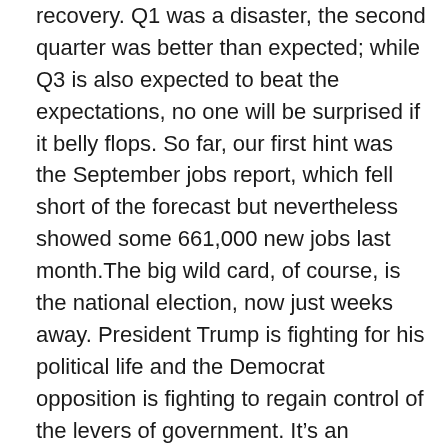recovery. Q1 was a disaster, the second quarter was better than expected; while Q3 is also expected to beat the expectations, no one will be surprised if it belly flops. So far, our first hint was the September jobs report, which fell short of the forecast but nevertheless showed some 661,000 new jobs last month.The big wild card, of course, is the national election, now just weeks away. President Trump is fighting for his political life and the Democrat opposition is fighting to regain control of the levers of government. It’s an environment that practically screams for investors to take protective action for their portfolios. And it’s possible; even in an uncertain time, there are dividend stocks that promise reliable returns and risk mitigation.